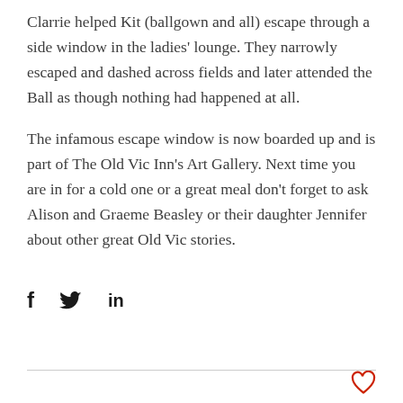Clarrie helped Kit (ballgown and all) escape through a side window in the ladies' lounge. They narrowly escaped and dashed across fields and later attended the Ball as though nothing had happened at all.
The infamous escape window is now boarded up and is part of The Old Vic Inn's Art Gallery. Next time you are in for a cold one or a great meal don't forget to ask Alison and Graeme Beasley or their daughter Jennifer about other great Old Vic stories.
[Figure (infographic): Social share icons: Facebook (f), Twitter (bird), LinkedIn (in)]